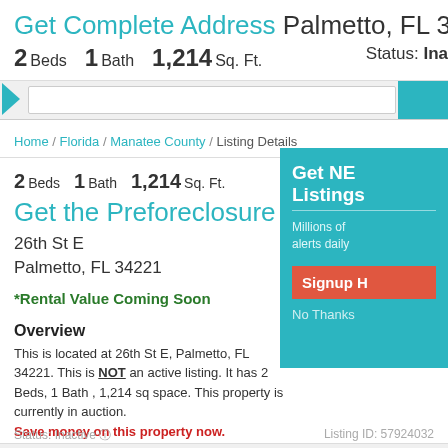Get Complete Address Palmetto, FL 34221
2 Beds  1 Bath  1,214 Sq. Ft.   Status: Ina
Home / Florida / Manatee County / Listing Details
2 Beds  1 Bath  1,214 Sq. Ft.
Get the Preforeclosure Address
26th St E
Palmetto, FL 34221
*Rental Value Coming Soon
Overview
This is located at 26th St E, Palmetto, FL 34221. This is NOT an active listing. It has 2 Beds, 1 Bath , 1,214 sq space. This property is currently in auction.
Save money on this property now.
Status: Inactive  Listing ID: 57924032